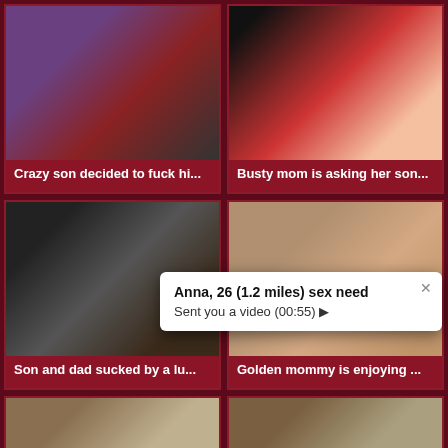[Figure (screenshot): Video thumbnail grid showing adult content website with 4 video thumbnails and partial bottom row, plus popup notification]
Crazy son decided to fuck hi...
Busty mom is asking her son...
Son and dad sucked by a lu...
Golden mommy is enjoying ...
Anna, 26 (1.2 miles) sex need
Sent you a video (00:55) ▶